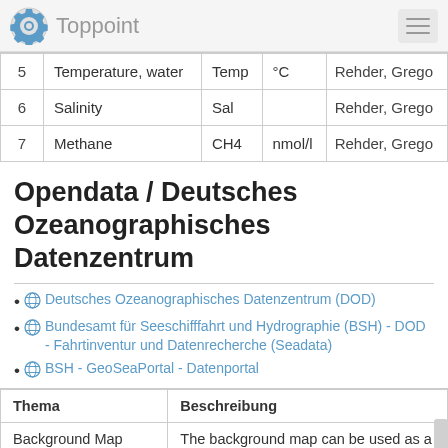Toppoint
| # | Name | Short | Unit | Person |
| --- | --- | --- | --- | --- |
| 5 | Temperature, water | Temp | °C | Rehder, Grego |
| 6 | Salinity | Sal |  | Rehder, Grego |
| 7 | Methane | CH4 | nmol/l | Rehder, Grego |
Opendata / Deutsches Ozeanographisches Datenzentrum
Deutsches Ozeanographisches Datenzentrum (DOD)
Bundesamt für Seeschifffahrt und Hydrographie (BSH) - DOD - Fahrtinventur und Datenrecherche (Seadata)
BSH - GeoSeaPortal - Datenportal
| Thema | Beschreibung |
| --- | --- |
| Background Map | The background map can be used as a |
| Navigation | The topic of navigation comprises the |